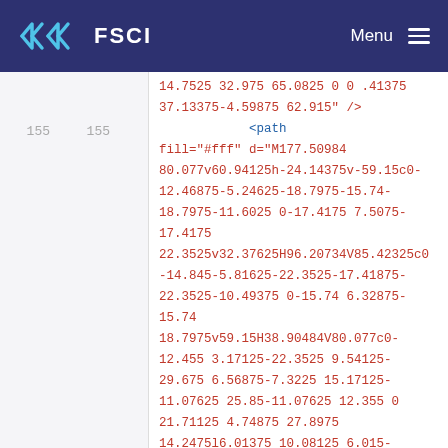FSCI  Menu
14.7525 32.975 65.0825 0 0 .41375
37.13375-4.59875 62.915" />
<path fill="#fff" d="M177.50984
80.077v60.94125h-24.14375v-59.15c0-12.46875-5.24625-18.7975-15.74-18.7975-11.6025 0-17.4175 7.5075-17.4175
22.3525v32.37625H96.20734V85.42325c0-14.845-5.81625-22.3525-17.41875-22.3525-10.49375 0-15.74 6.32875-15.74
18.7975v59.15H38.90484V80.077c0-12.455 3.17125-22.3525 9.54125-29.675 6.56875-7.3225 15.17125-11.07625 25.85-11.07625 12.355 0 21.71125 4.74875 27.8975
14.2475l6.01375 10.08125 6.015-10.08125c6.185-9.49875 15.54125-14.2475 27.8975-14.2475 10.6775 0